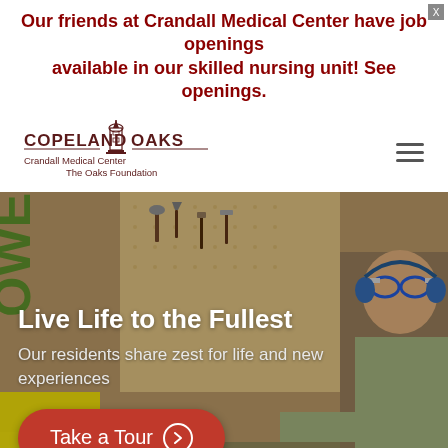Our friends at Crandall Medical Center have job openings available in our skilled nursing unit! See openings.
[Figure (logo): Copeland Oaks logo with tower/building graphic, text: COPELAND OAKS, Crandall Medical Center, The Oaks Foundation]
[Figure (photo): Elderly man wearing safety goggles and ear protection working in a woodshop, tools hanging on pegboard wall in background]
Live Life to the Fullest
Our residents share zest for life and new experiences
Take a Tour ⊙